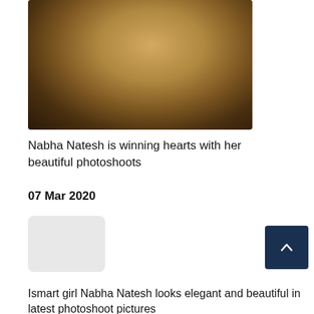[Figure (photo): A glamorous woman with long wavy dark hair wearing a red outfit, posing against a golden/beige background. She has one hand raised near her head.]
Nabha Natesh is winning hearts with her beautiful photoshoots
07 Mar 2020
[Figure (photo): Small thumbnail image placeholder (light grey box)]
Ismart girl Nabha Natesh looks elegant and beautiful in latest photoshoot pictures